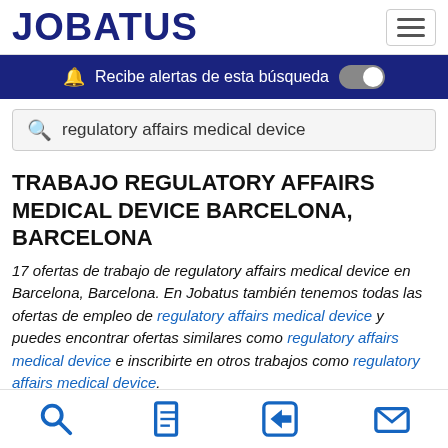JOBATUS
Recibe alertas de esta búsqueda
regulatory affairs medical device
TRABAJO REGULATORY AFFAIRS MEDICAL DEVICE BARCELONA, BARCELONA
17 ofertas de trabajo de regulatory affairs medical device en Barcelona, Barcelona. En Jobatus también tenemos todas las ofertas de empleo de regulatory affairs medical device y puedes encontrar ofertas similares como regulatory affairs medical device e inscribirte en otros trabajos como regulatory affairs medical device.
search, document, back, mail icons